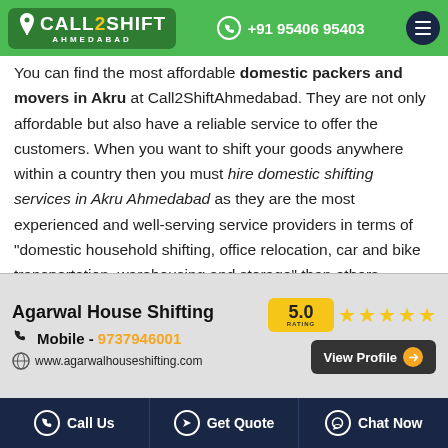CALL2SHIFT AHMEDABAD | +91 95406 95403
You can find the most affordable domestic packers and movers in Akru at Call2ShiftAhmedabad. They are not only affordable but also have a reliable service to offer the customers. When you want to shift your goods anywhere within a country then you must hire domestic shifting services in Akru Ahmedabad as they are the most experienced and well-serving service providers in terms of "domestic household shifting, office relocation, car and bike transportation, warehousing and storage" than others available in the market.
[Figure (infographic): Agarwal House Shifting advertisement banner with 5.0 rating, mobile number 9737946001, website www.agarwalhouseshifting.com, and View Profile button]
Call Us | Get Quote | Chat Now